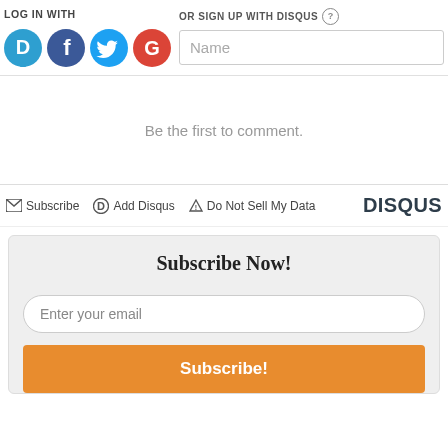LOG IN WITH
[Figure (logo): Social login icons: Disqus (blue D), Facebook (dark blue f), Twitter (light blue bird), Google (red G)]
OR SIGN UP WITH DISQUS ?
Name
Be the first to comment.
Subscribe   Add Disqus   Do Not Sell My Data   DISQUS
Subscribe Now!
Enter your email
Subscribe!